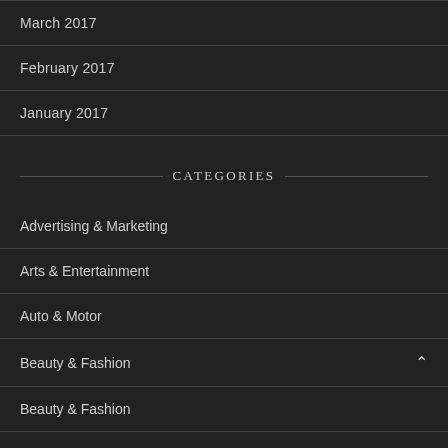March 2017
February 2017
January 2017
CATEGORIES
Advertising & Marketing
Arts & Entertainment
Auto & Motor
Beauty & Fashion
Beauty & Fashion